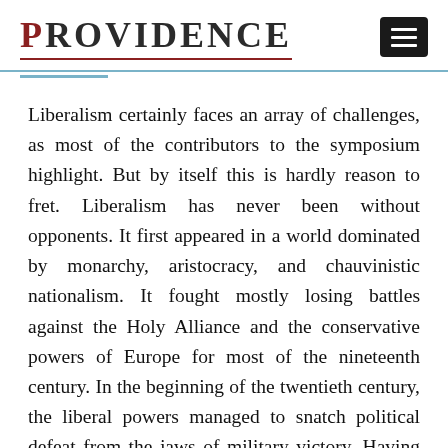PROVIDENCE
Liberalism certainly faces an array of challenges, as most of the contributors to the symposium highlight. But by itself this is hardly reason to fret. Liberalism has never been without opponents. It first appeared in a world dominated by monarchy, aristocracy, and chauvinistic nationalism. It fought mostly losing battles against the Holy Alliance and the conservative powers of Europe for most of the nineteenth century. In the beginning of the twentieth century, the liberal powers managed to snatch political defeat from the jaws of military victory. Having won the fight in World War I, they then